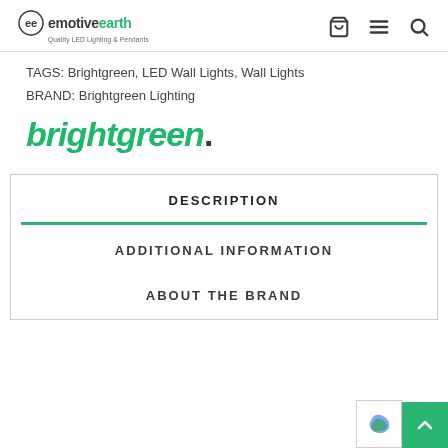emotiveearth - Quality LED Lighting & Pendants
TAGS: Brightgreen, LED Wall Lights, Wall Lights
BRAND: Brightgreen Lighting
[Figure (logo): Brightgreen brand logo in green italic bold text with a period]
DESCRIPTION
ADDITIONAL INFORMATION
ABOUT THE BRAND